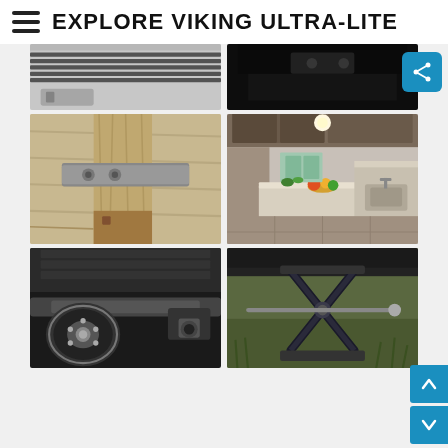EXPLORE VIKING ULTRA-LITE
[Figure (photo): Interior RV blind/window detail - partial top view]
[Figure (photo): Dark interior RV cabinet hardware detail - partial top view]
[Figure (photo): Wooden structural beam with metal strap bracket close-up]
[Figure (photo): RV interior kitchen with countertops, cabinets, and sink]
[Figure (photo): RV undercarriage axle and hitch hardware close-up]
[Figure (photo): Scissor jack stabilizer on grass close-up]